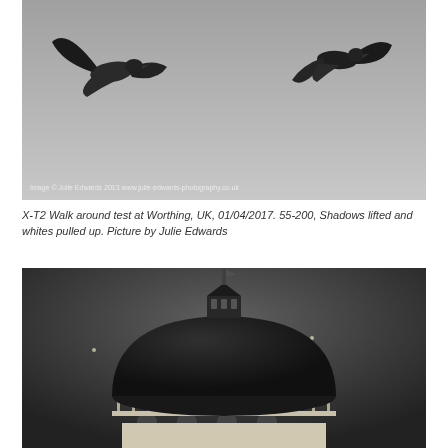[Figure (photo): Black and white photograph of two birds (pigeons/seagulls) in flight against a light grey sky. One bird is on the left side, one on the right. Watermark text reads: Image © Julie Edwards 2013 www.julie-edwards-photography.co.uk]
X-T2 Walk around test at Worthing, UK, 01/04/2017. 55-200, Shadows lifted and whites pulled up. Picture by Julie Edwards
[Figure (photo): Black and white photograph of a dome-topped building or pavilion at night or dusk. The dome is dark against a dark grey sky with a spire or flagpole on top. Two small bright specks visible in the sky (possibly birds or lights).]